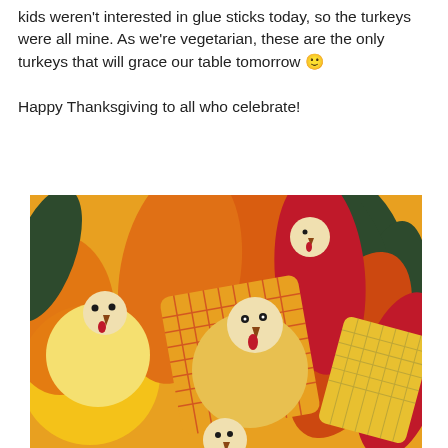kids weren't interested in glue sticks today, so the turkeys were all mine. As we're vegetarian, these are the only turkeys that will grace our table tomorrow 🙂

Happy Thanksgiving to all who celebrate!
[Figure (photo): Paper craft turkeys made from colorful cut paper shapes in orange, yellow, red, dark green, and tan, arranged in a pile. The turkeys have circular heads with dot eyes and beak wattles, with fan-shaped tails made from patterned and solid colored paper.]